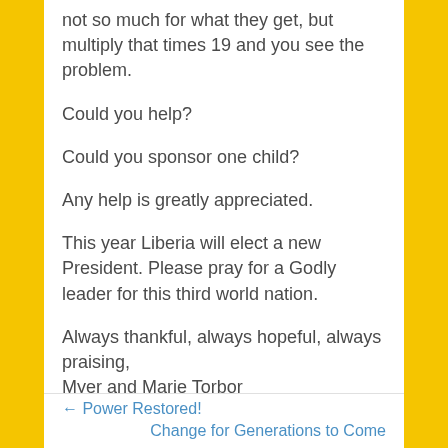not so much for what they get, but multiply that times 19 and you see the problem.
Could you help?
Could you sponsor one child?
Any help is greatly appreciated.
This year Liberia will elect a new President. Please pray for a Godly leader for this third world nation.
Always thankful, always hopeful, always praising,
Myer and Marie Torbor
Glory to God
← Power Restored!
Change for Generations to Come